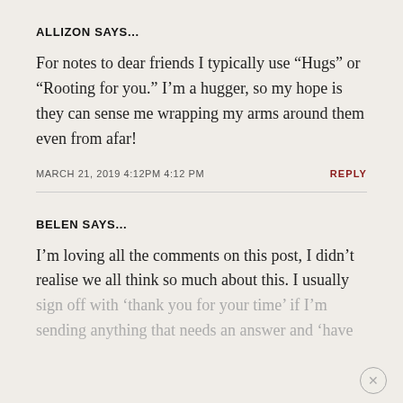ALLIZON SAYS...
For notes to dear friends I typically use “Hugs” or “Rooting for you.” I’m a hugger, so my hope is they can sense me wrapping my arms around them even from afar!
MARCH 21, 2019 4:12PM 4:12 PM
BELEN SAYS...
I’m loving all the comments on this post, I didn’t realise we all think so much about this. I usually sign off with ‘thank you for your time’ if I’m sending anything that needs an answer and ‘have